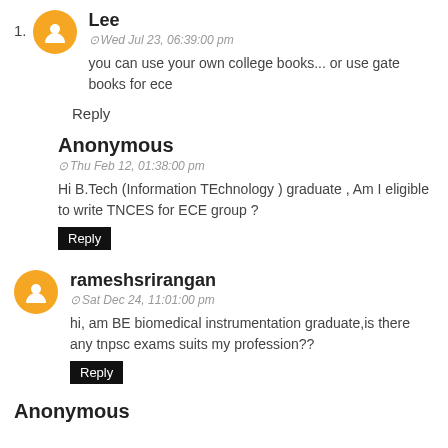1. Lee — Wed Jul 23, 06:39:00 pm — you can use your own college books... or use gate books for ece
Reply
Anonymous — Thu Feb 12, 01:38:00 pm — Hi B.Tech (Information TEchnology ) graduate , Am I eligible to write TNCES for ECE group ?
Reply
rameshsrirangan — Sat Dec 24, 11:01:00 pm — hi, am BE biomedical instrumentation graduate,is there any tnpsc exams suits my profession??
Reply
Anonymous